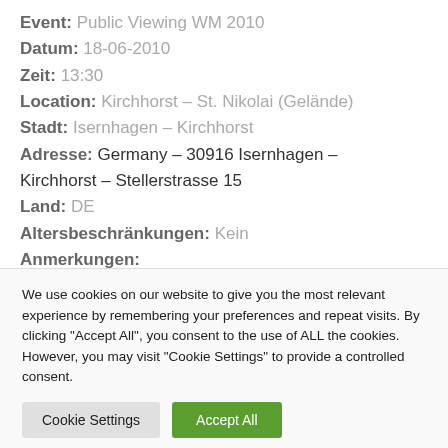Event: Public Viewing WM 2010
Datum: 18-06-2010
Zeit: 13:30
Location: Kirchhorst – St. Nikolai (Gelände)
Stadt: Isernhagen – Kirchhorst
Adresse: Germany – 30916 Isernhagen – Kirchhorst – Stellerstrasse 15
Land: DE
Altersbeschränkungen: Kein
Anmerkungen:
We use cookies on our website to give you the most relevant experience by remembering your preferences and repeat visits. By clicking "Accept All", you consent to the use of ALL the cookies. However, you may visit "Cookie Settings" to provide a controlled consent.